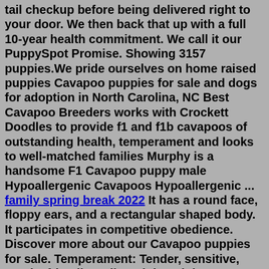tail checkup before being delivered right to your door. We then back that up with a full 10-year health commitment. We call it our PuppySpot Promise. Showing 3157 puppies.We pride ourselves on home raised puppies Cavapoo puppies for sale and dogs for adoption in North Carolina, NC Best Cavapoo Breeders works with Crockett Doodles to provide f1 and f1b cavapoos of outstanding health, temperament and looks to well-matched families Murphy is a handsome F1 Cavapoo puppy male Hypoallergenic Cavapoos Hypoallergenic ... family spring break 2022 It has a round face, floppy ears, and a rectangular shaped body. It participates in competitive obedience. Discover more about our Cavapoo puppies for sale. Temperament: Tender, sensitive, gentle, friendly, agile. Adult Weight: 8 - 20 pounds. Adult Height: 9 - 14 inches.Both breeders below carry our bloodlines. If you are looking for a Pecan Place Puppy in the future please contact: Bob/Debbie Howard at dladybugdd@aol.com Hudson, FL 727-514-2113 or 727-808-0885 OR Jennifer Gregston